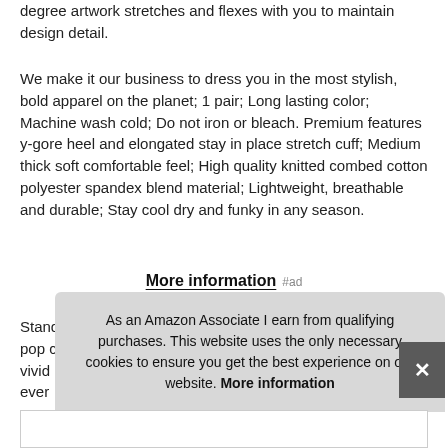degree artwork stretches and flexes with you to maintain design detail.
We make it our business to dress you in the most stylish, bold apparel on the planet; 1 pair; Long lasting color; Machine wash cold; Do not iron or bleach. Premium features y-gore heel and elongated stay in place stretch cuff; Medium thick soft comfortable feel; High quality knitted combed cotton polyester spandex blend material; Lightweight, breathable and durable; Stay cool dry and funky in any season.
More information #ad
Stand out with these trendy, skateboarding, cartoon, food, pop cult vivid ever
As an Amazon Associate I earn from qualifying purchases. This website uses the only necessary cookies to ensure you get the best experience on our website. More information